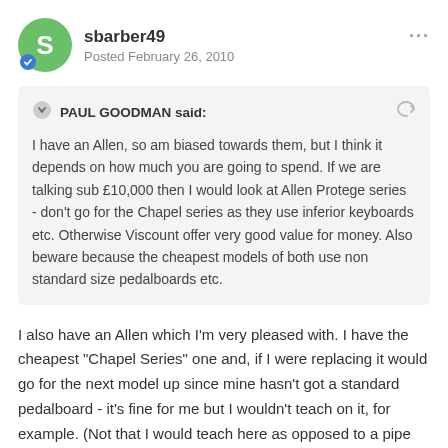sbarber49
Posted February 26, 2010
PAUL GOODMAN said: I have an Allen, so am biased towards them, but I think it depends on how much you are going to spend. If we are talking sub £10,000 then I would look at Allen Protege series - don't go for the Chapel series as they use inferior keyboards etc. Otherwise Viscount offer very good value for money. Also beware because the cheapest models of both use non standard size pedalboards etc.
I also have an Allen which I'm very pleased with. I have the cheapest "Chapel Series" one and, if I were replacing it would go for the next model up since mine hasn't got a standard pedalboard - it's fine for me but I wouldn't teach on it, for example. (Not that I would teach here as opposed to a pipe